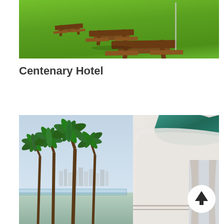[Figure (photo): Outdoor picnic area with wooden picnic tables on a green grass lawn, sunny day]
Centenary Hotel
[Figure (photo): Hotel balcony view with teal and white curved architecture, palm trees, city skyline in background, curtains visible inside, scroll-to-top button overlay]